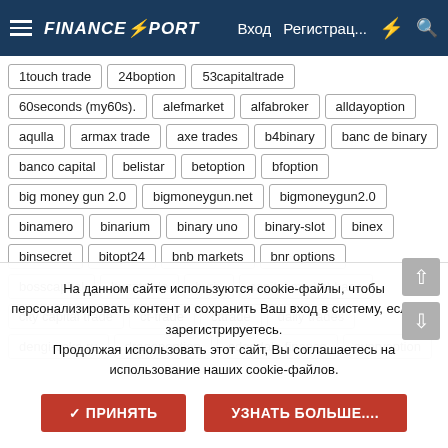FinancePort — Вход  Регистрац...
1touch trade
24boption
53capitaltrade
60seconds (my60s).
alefmarket
alfabroker
alldayoption
aqulla
armax trade
axe trades
b4binary
banc de binary
banco capital
belistar
betoption
bfoption
big money gun 2.0
bigmoneygun.net
bigmoneygun2.0
binamero
binarium
binary uno
binary-slot
binex
binsecret
bitopt24
bnb markets
bnr options
bosscapital
buzztrade
byrix
capital market banc
city capital trade
ct-trade
cttrade
daily trades
dengi-veka.ru
dragonoption
edgedale finance
everyoption
На данном сайте используются cookie-файлы, чтобы персонализировать контент и сохранить Ваш вход в систему, если Вы зарегистрируетесь.
Продолжая использовать этот сайт, Вы соглашаетесь на использование наших cookie-файлов.
✓ ПРИНЯТЬ
УЗНАТЬ БОЛЬШЕ....